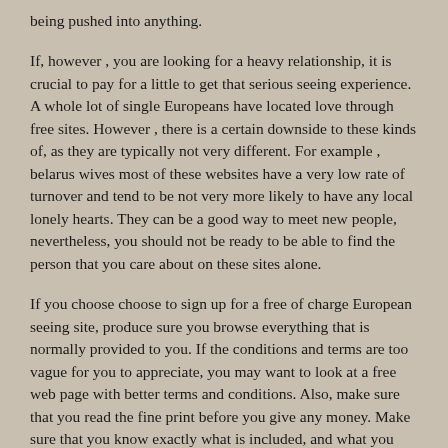being pushed into anything.
If, however , you are looking for a heavy relationship, it is crucial to pay for a little to get that serious seeing experience. A whole lot of single Europeans have located love through free sites. However , there is a certain downside to these kinds of, as they are typically not very different. For example , belarus wives most of these websites have a very low rate of turnover and tend to be not very more likely to have any local lonely hearts. They can be a good way to meet new people, nevertheless, you should not be ready to be able to find the person that you care about on these sites alone.
If you choose choose to sign up for a free of charge European seeing site, produce sure you browse everything that is normally provided to you. If the conditions and terms are too vague for you to appreciate, you may want to look at a free web page with better terms and conditions. Also, make sure that you read the fine print before you give any money. Make sure that you know exactly what is included, and what you happen to be agreeing to before you proceed.